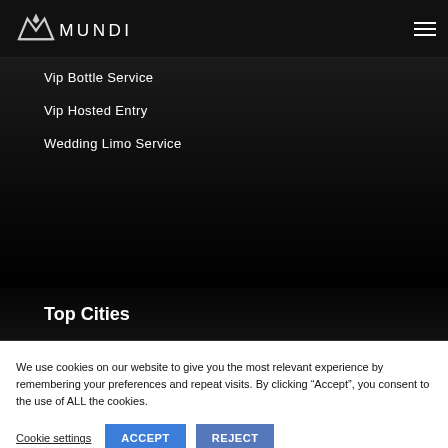MUNDI
Vip Bottle Service
Vip Hosted Entry
Wedding Limo Service
Top Cities
We use cookies on our website to give you the most relevant experience by remembering your preferences and repeat visits. By clicking “Accept”, you consent to the use of ALL the cookies.
Cookie settings ACCEPT REJECT